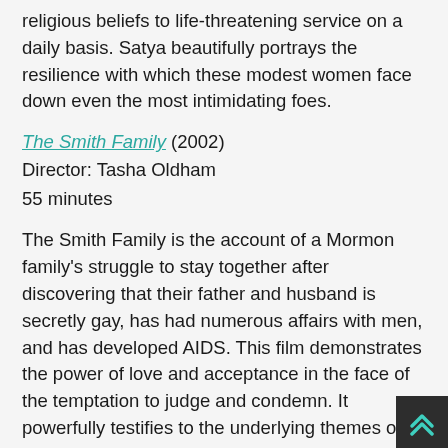religious beliefs to life-threatening service on a daily basis. Satya beautifully portrays the resilience with which these modest women face down even the most intimidating foes.
The Smith Family (2002) Director: Tasha Oldham 55 minutes
The Smith Family is the account of a Mormon family's struggle to stay together after discovering that their father and husband is secretly gay, has had numerous affairs with men, and has developed AIDS. This film demonstrates the power of love and acceptance in the face of the temptation to judge and condemn. It powerfully testifies to the underlying themes of the Mormon faith—compassion, forgiveness and service—while simultaneously representing the complexities